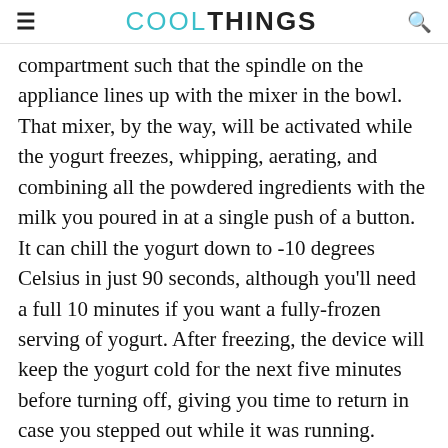≡  COOLTHINGS  🔍
compartment such that the spindle on the appliance lines up with the mixer in the bowl. That mixer, by the way, will be activated while the yogurt freezes, whipping, aerating, and combining all the powdered ingredients with the milk you poured in at a single push of a button. It can chill the yogurt down to -10 degrees Celsius in just 90 seconds, although you'll need a full 10 minutes if you want a fully-frozen serving of yogurt. After freezing, the device will keep the yogurt cold for the next five minutes before turning off, giving you time to return in case you stepped out while it was running.
How does the yogurt freeze inside the compartment? We're not entirely sure since the product page just lists it as a patent-pending cooling technology that doesn't use any kind of refrigerant while operating in complete silence. Whatever it is, the darn thing works well enough to actually turn out frozen bowls of curdled milk treats